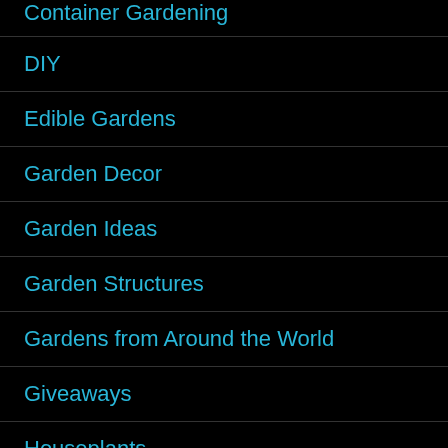Container Gardening
DIY
Edible Gardens
Garden Decor
Garden Ideas
Garden Structures
Gardens from Around the World
Giveaways
Houseplants
[Figure (screenshot): Advertisement banner showing a circular orange/green icon with a plus sign, a checkmark, the text 'In-store shopping', and a blue diamond navigation arrow icon. Below are small play and close control icons in blue.]